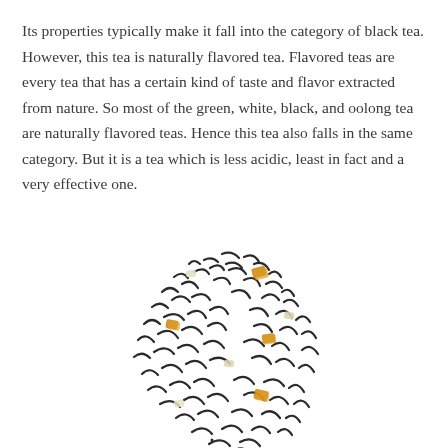Its properties typically make it fall into the category of black tea. However, this tea is naturally flavored tea. Flavored teas are every tea that has a certain kind of taste and flavor extracted from nature. So most of the green, white, black, and oolong tea are naturally flavored teas. Hence this tea also falls in the same category. But it is a tea which is less acidic, least in fact and a very effective one.
[Figure (photo): Top-down view of loose tea leaves — dark twisted black tea leaves mixed with small pale yellow and amber/orange dried pieces (likely citrus peel or ginger), arranged in a roughly circular cluster on a white background.]